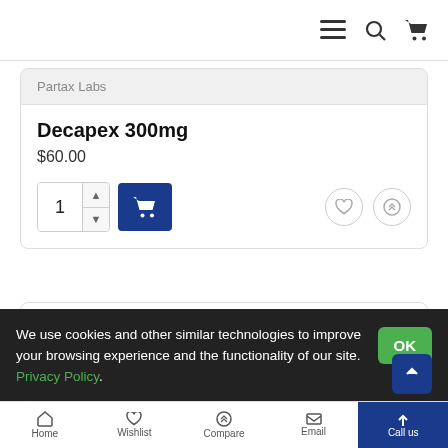Navigation bar with menu, search, and cart icons
Partax Labs
Decapex 300mg
$60.00
We use cookies and other similar technologies to improve your browsing experience and the functionality of our site. Privacy Policy.
Home | Wishlist | Compare | Email | Call us